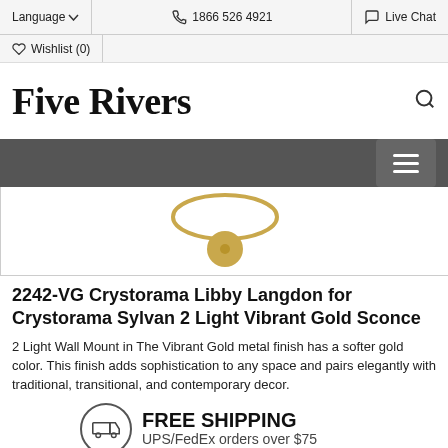Language | 1866 526 4921 | Live Chat | Wishlist (0)
Five Rivers
[Figure (photo): Partial product photo of a Vibrant Gold wall sconce with circular gold ring and gold ball center, shown against white background]
2242-VG Crystorama Libby Langdon for Crystorama Sylvan 2 Light Vibrant Gold Sconce
2 Light Wall Mount in The Vibrant Gold metal finish has a softer gold color. This finish adds sophistication to any space and pairs elegantly with traditional, transitional, and contemporary decor.
FREE SHIPPING UPS/FedEx orders over $75